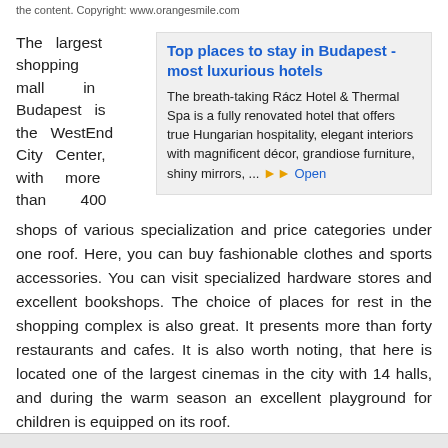the content. Copyright: www.orangesmile.com
The largest shopping mall in Budapest is the WestEnd City Center, with more than 400
Top places to stay in Budapest - most luxurious hotels

The breath-taking Rácz Hotel & Thermal Spa is a fully renovated hotel that offers true Hungarian hospitality, elegant interiors with magnificent décor, grandiose furniture, shiny mirrors, ... Open
shops of various specialization and price categories under one roof. Here, you can buy fashionable clothes and sports accessories. You can visit specialized hardware stores and excellent bookshops. The choice of places for rest in the shopping complex is also great. It presents more than forty restaurants and cafes. It is also worth noting, that here is located one of the largest cinemas in the city with 14 halls, and during the warm season an excellent playground for children is equipped on its roof.